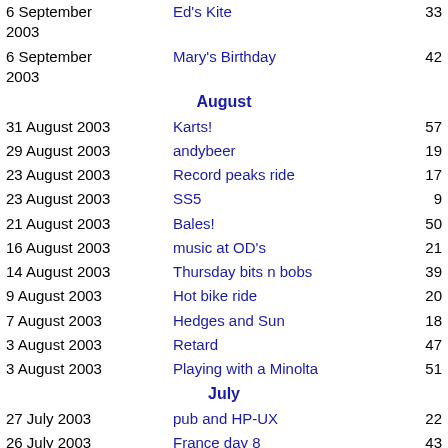| Date | Title | Count |
| --- | --- | --- |
| 6 September 2003 | Ed's Kite | 33 |
| 6 September 2003 | Mary's Birthday | 42 |
| August |  |  |
| 31 August 2003 | Karts! | 57 |
| 29 August 2003 | andybeer | 19 |
| 23 August 2003 | Record peaks ride | 17 |
| 23 August 2003 | SS5 | 9 |
| 21 August 2003 | Bales! | 50 |
| 16 August 2003 | music at OD's | 21 |
| 14 August 2003 | Thursday bits n bobs | 39 |
| 9 August 2003 | Hot bike ride | 20 |
| 7 August 2003 | Hedges and Sun | 18 |
| 3 August 2003 | Retard | 47 |
| 3 August 2003 | Playing with a Minolta | 51 |
| July |  |  |
| 27 July 2003 | pub and HP-UX | 22 |
| 26 July 2003 | France day 8 | 43 |
| 25 July 2003 | France day 7 | 86 |
| 24 July 2003 | France day 6 | 29 |
| 23 July 2003 | France day 5 | 49 |